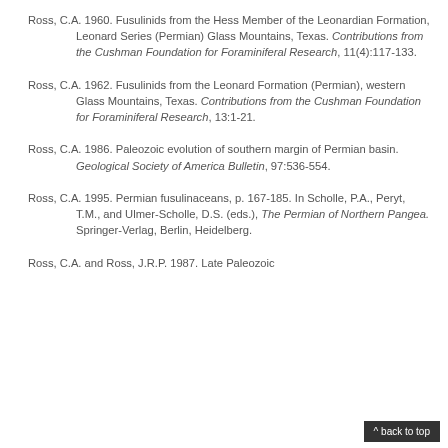Ross, C.A. 1960. Fusulinids from the Hess Member of the Leonardian Formation, Leonard Series (Permian) Glass Mountains, Texas. Contributions from the Cushman Foundation for Foraminiferal Research, 11(4):117-133.
Ross, C.A. 1962. Fusulinids from the Leonard Formation (Permian), western Glass Mountains, Texas. Contributions from the Cushman Foundation for Foraminiferal Research, 13:1-21.
Ross, C.A. 1986. Paleozoic evolution of southern margin of Permian basin. Geological Society of America Bulletin, 97:536-554.
Ross, C.A. 1995. Permian fusulinaceans, p. 167-185. In Scholle, P.A., Peryt, T.M., and Ulmer-Scholle, D.S. (eds.), The Permian of Northern Pangea. Springer-Verlag, Berlin, Heidelberg.
Ross, C.A. and Ross, J.R.P. 1987. Late Paleozoic...